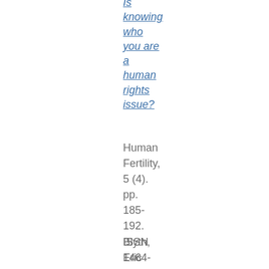Is knowing who you are a human rights issue?
Human Fertility, 5 (4). pp. 185-192. ISSN 1464-7273
Blyth, Eric (2009)